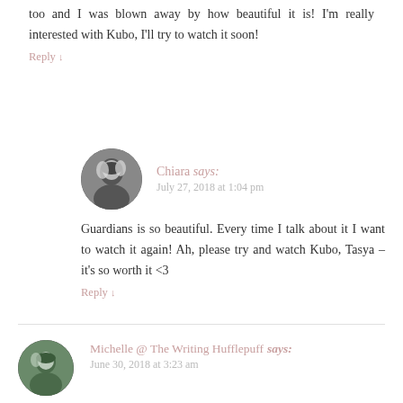too and I was blown away by how beautiful it is! I'm really interested with Kubo, I'll try to watch it soon!
Reply ↓
Chiara says:
July 27, 2018 at 1:04 pm
Guardians is so beautiful. Every time I talk about it I want to watch it again! Ah, please try and watch Kubo, Tasya – it's so worth it <3
Reply ↓
Michelle @ The Writing Hufflepuff says:
June 30, 2018 at 3:23 am